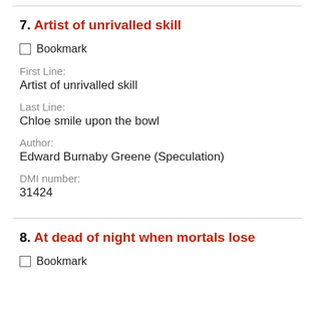7. Artist of unrivalled skill
Bookmark
First Line: Artist of unrivalled skill
Last Line: Chloe smile upon the bowl
Author: Edward Burnaby Greene (Speculation)
DMI number: 31424
8. At dead of night when mortals lose
Bookmark